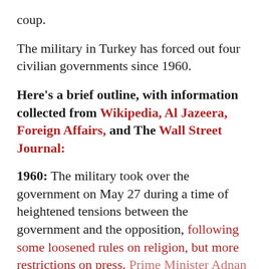coup.
The military in Turkey has forced out four civilian governments since 1960.
Here’s a brief outline, with information collected from Wikipedia, Al Jazeera, Foreign Affairs, and The Wall Street Journal:
1960: The military took over the government on May 27 during a time of heightened tensions between the government and the opposition, following some loosened rules on religion, but more restrictions on press. Prime Minister Adnan Mederes